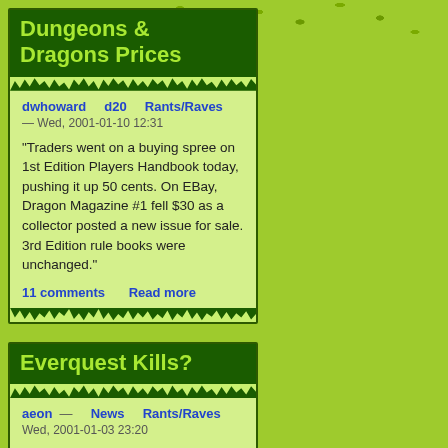Dungeons & Dragons Prices
dwhoward   d20   Rants/Raves — Wed, 2001-01-10 12:31
"Traders went on a buying spree on 1st Edition Players Handbook today, pushing it up 50 cents. On EBay, Dragon Magazine #1 fell $30 as a collector posted a new issue for sale. 3rd Edition rule books were unchanged."
11 comments   Read more
Everquest Kills?
aeon —   News   Rants/Raves
Wed, 2001-01-03 23:20